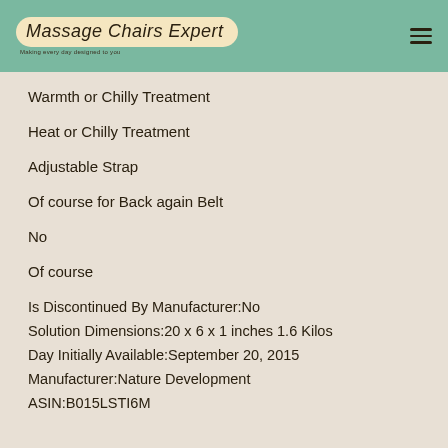Massage Chairs Expert
Warmth or Chilly Treatment
Heat or Chilly Treatment
Adjustable Strap
Of course for Back again Belt
No
Of course
Is Discontinued By Manufacturer:No
Solution Dimensions:20 x 6 x 1 inches 1.6 Kilos
Day Initially Available:September 20, 2015
Manufacturer:Nature Development
ASIN:B015LSTI6M